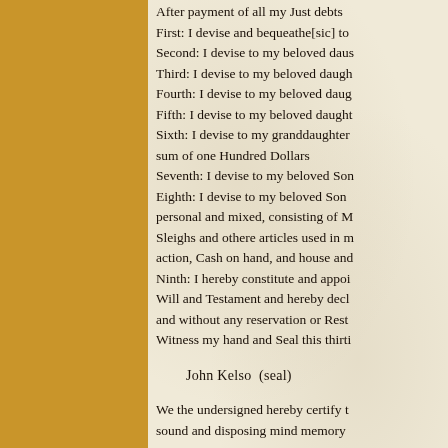After payment of all my Just debts First: I devise and bequeathe[sic] to Second: I devise to my beloved daus Third: I devise to my beloved daugh Fourth: I devise to my beloved daug Fifth: I devise to my beloved daught Sixth: I devise to my granddaughter sum of one Hundred Dollars Seventh: I devise to my beloved Son Eighth: I devise to my beloved Son personal and mixed, consisting of M Sleighs and othere articles used in m action, Cash on hand, and house ano Ninth: I hereby constitute and appoi Will and Testament and hereby decl and without any reservation or Rest Witness my hand and Seal this thirti
John Kelso  (seal)
We the undersigned hereby certify t sound and disposing mind memory